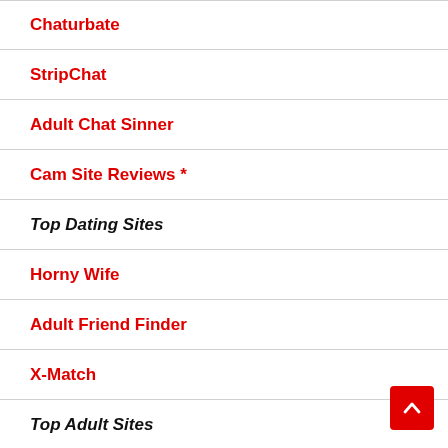Chaturbate
StripChat
Adult Chat Sinner
Cam Site Reviews *
Top Dating Sites
Horny Wife
Adult Friend Finder
X-Match
Top Adult Sites